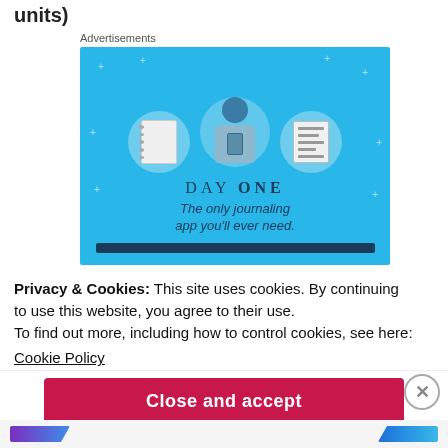units)
Advertisements
[Figure (illustration): Advertisement for 'DAY ONE' journaling app with blue background, three circular icons (notebook, person with phone, list), and tagline 'The only journaling app you'll ever need.']
Privacy & Cookies: This site uses cookies. By continuing to use this website, you agree to their use.
To find out more, including how to control cookies, see here:
Cookie Policy
Close and accept